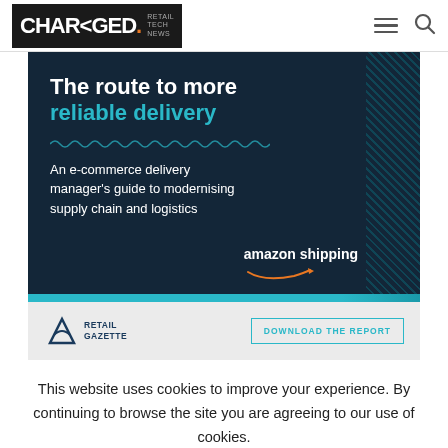CHARGED. RETAIL TECH NEWS
[Figure (infographic): Amazon Shipping advertisement banner on dark navy background. Text: 'The route to more reliable delivery. An e-commerce delivery manager's guide to modernising supply chain and logistics. amazon shipping.' With Retail Gazette logo and 'DOWNLOAD THE REPORT' button below.]
This website uses cookies to improve your experience. By continuing to browse the site you are agreeing to our use of cookies. Accept To find out more please read our privacy policy Read More